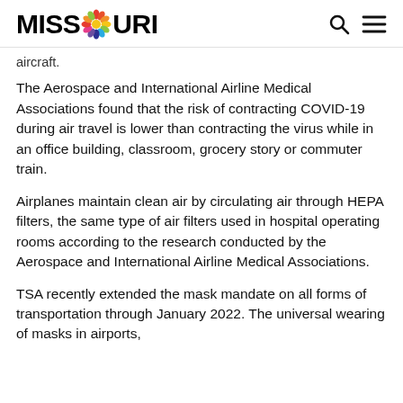MISSOURI [logo] [search icon] [menu icon]
aircraft.
The Aerospace and International Airline Medical Associations found that the risk of contracting COVID-19 during air travel is lower than contracting the virus while in an office building, classroom, grocery story or commuter train.
Airplanes maintain clean air by circulating air through HEPA filters, the same type of air filters used in hospital operating rooms according to the research conducted by the Aerospace and International Airline Medical Associations.
TSA recently extended the mask mandate on all forms of transportation through January 2022. The universal wearing of masks in airports, airplanes, trains and other forms of public...